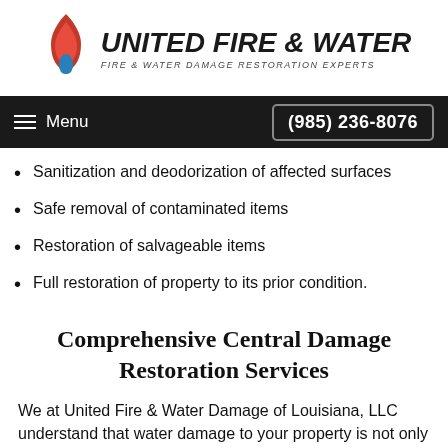[Figure (logo): United Fire & Water logo with flame icon and text 'UNITED FIRE & WATER - FIRE & WATER DAMAGE RESTORATION EXPERTS']
Menu  (985) 236-8076
Sanitization and deodorization of affected surfaces
Safe removal of contaminated items
Restoration of salvageable items
Full restoration of property to its prior condition.
Comprehensive Central Damage Restoration Services
We at United Fire & Water Damage of Louisiana, LLC understand that water damage to your property is not only